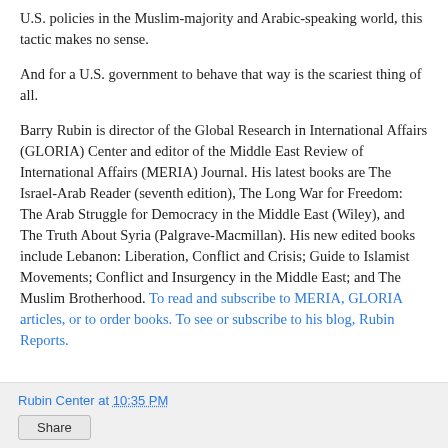U.S. policies in the Muslim-majority and Arabic-speaking world, this tactic makes no sense.
And for a U.S. government to behave that way is the scariest thing of all.
Barry Rubin is director of the Global Research in International Affairs (GLORIA) Center and editor of the Middle East Review of International Affairs (MERIA) Journal. His latest books are The Israel-Arab Reader (seventh edition), The Long War for Freedom: The Arab Struggle for Democracy in the Middle East (Wiley), and The Truth About Syria (Palgrave-Macmillan). His new edited books include Lebanon: Liberation, Conflict and Crisis; Guide to Islamist Movements; Conflict and Insurgency in the Middle East; and The Muslim Brotherhood. To read and subscribe to MERIA, GLORIA articles, or to order books. To see or subscribe to his blog, Rubin Reports.
Rubin Center at 10:35 PM